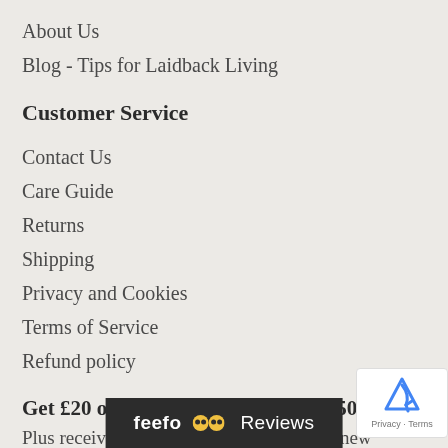About Us
Blog - Tips for Laidback Living
Customer Service
Contact Us
Care Guide
Returns
Shipping
Privacy and Cookies
Terms of Service
Refund policy
Get £20 off your first order over £250
Plus receive VIP ... to new
[Figure (logo): Feefo Reviews badge overlay at bottom center]
[Figure (logo): Google reCAPTCHA badge at bottom right with Privacy and Terms links]